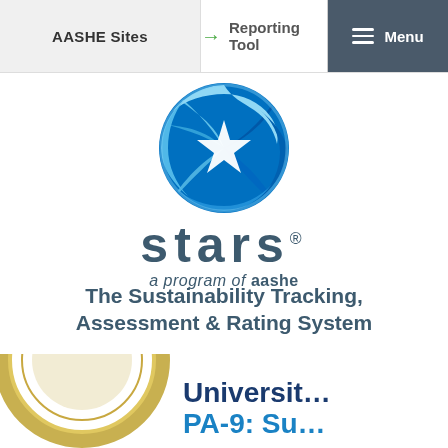AASHE Sites   → Reporting Tool   Menu
[Figure (logo): STARS logo — blue swirling pinwheel circle with white star center, text 'stars®' and 'a program of aashe' below]
The Sustainability Tracking, Assessment & Rating System
[Figure (illustration): Partial gold/silver circular badge with text 'RACKING, ASSESSMENT' visible along the arc]
Universit… PA-9: Su…